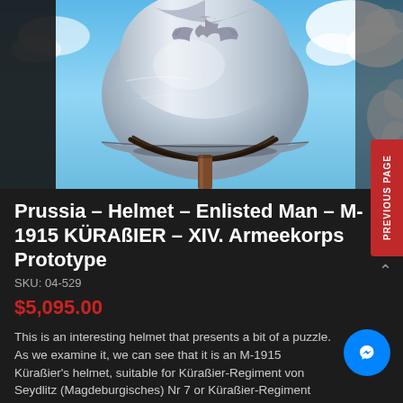[Figure (photo): A Prussian M-1915 Küraßier enlisted man's helmet, shown from the back/front, displaying a metallic silver finish with an eagle crest on top, a leather chinstrap, and a wooden display stand. The background is a blue sky with white clouds.]
Prussia – Helmet – Enlisted Man – M-1915 KÜRAßIER – XIV. Armeekorps Prototype
SKU: 04-529
$5,095.00
This is an interesting helmet that presents a bit of a puzzle. As we examine it, we can see that it is an M-1915 Küraßier's helmet, suitable for Küraßier-Regiment von Seydlitz (Magdeburgisches) Nr 7 or Küraßier-Regiment Graf Spork (Märkisches) Nr...